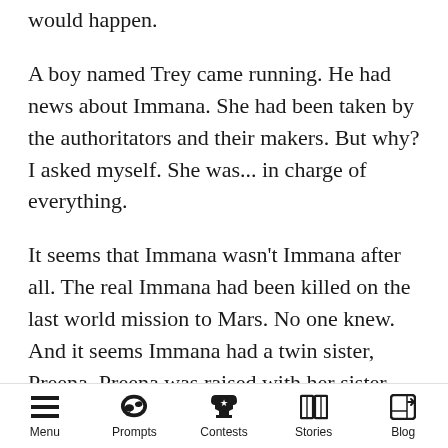would happen.
A boy named Trey came running. He had news about Immana. She had been taken by the authoritators and their makers. But why? I asked myself. She was... in charge of everything.
It seems that Immana wasn't Immana after all. The real Immana had been killed on the last world mission to Mars. No one knew. And it seems Immana had a twin sister, Preena. Preena was raised with her sister and brother. Immana was raised by their aunt along with another brother.
Omg. Immana's mom was a lawbreaker. Preena
Menu  Prompts  Contests  Stories  Blog